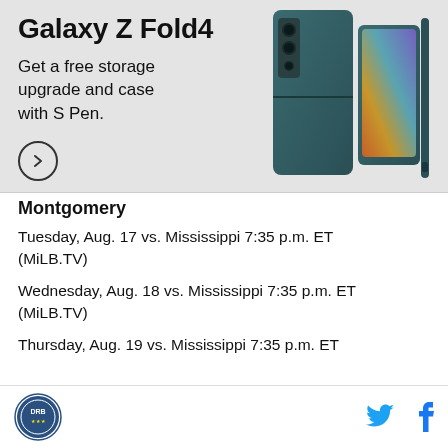[Figure (photo): Samsung Galaxy Z Fold4 advertisement banner with teal/dark green phone image on right and promotional text on left]
Montgomery
Tuesday, Aug. 17 vs. Mississippi 7:35 p.m. ET (MiLB.TV)
Wednesday, Aug. 18 vs. Mississippi 7:35 p.m. ET (MiLB.TV)
Thursday, Aug. 19 vs. Mississippi 7:35 p.m. ET
DRB logo, Twitter icon, Facebook icon